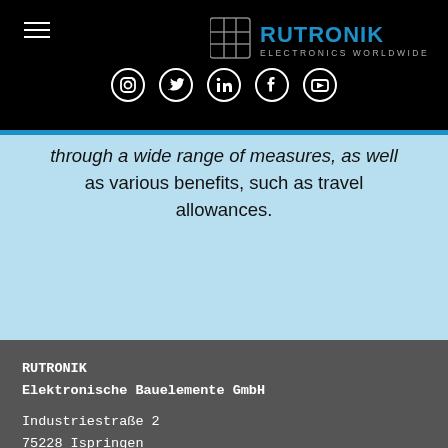[Figure (logo): Rutronik Electronics Worldwide logo in top right corner of black header bar]
[Figure (infographic): Row of five social media icons (Instagram, Twitter, LinkedIn, Facebook, YouTube) in white circles on black background]
through a wide range of measures, as well as various benefits, such as travel allowances.
RUTRONIK
Elektronische Bauelemente GmbH

Industriestraße 2
75228 Ispringen
Deutschland